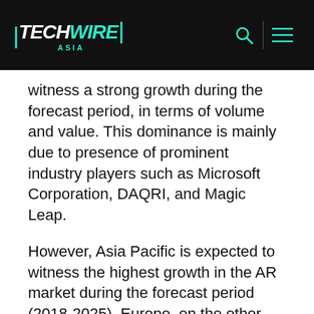TechWire Asia
witness a strong growth during the forecast period, in terms of volume and value. This dominance is mainly due to presence of prominent industry players such as Microsoft Corporation, DAQRI, and Magic Leap.
However, Asia Pacific is expected to witness the highest growth in the AR market during the forecast period (2018-2025). Europe, on the other hand, is expected to witness the highest growth in the MR market during the forecast period – according to Research and Markets.